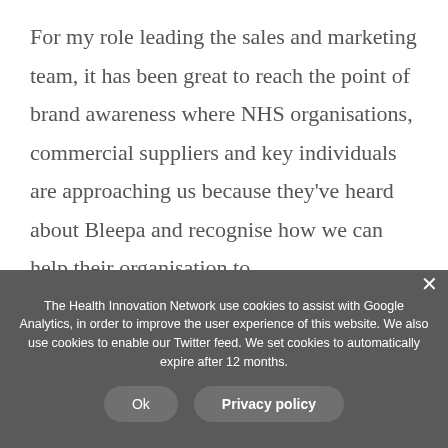For my role leading the sales and marketing team, it has been great to reach the point of brand awareness where NHS organisations, commercial suppliers and key individuals are approaching us because they've heard about Bleepa and recognise how we can help their organisation to
The Health Innovation Network use cookies to assist with Google Analytics, in order to improve the user experience of this website. We also use cookies to enable our Twitter feed. We set cookies to automatically expire after 12 months.
Ok
Privacy policy